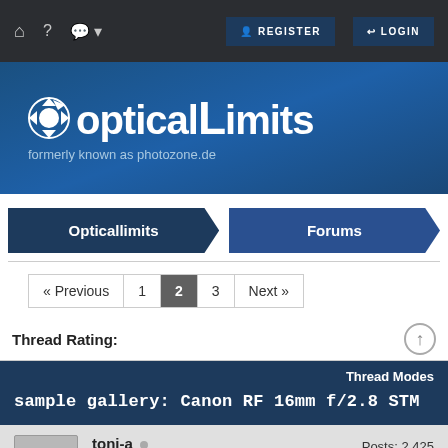Home | Help | Chat | REGISTER | LOGIN
[Figure (logo): OpticalLimits logo with camera shutter icon, text 'opticalLimits' and subtitle 'formerly known as photozone.de']
Opticallimits › Forums
« Previous  1  2  3  Next »
Thread Rating:
Thread Modes
sample gallery: Canon RF 16mm f/2.8 STM
toni-a  Posts: 2,425  Threads: 544